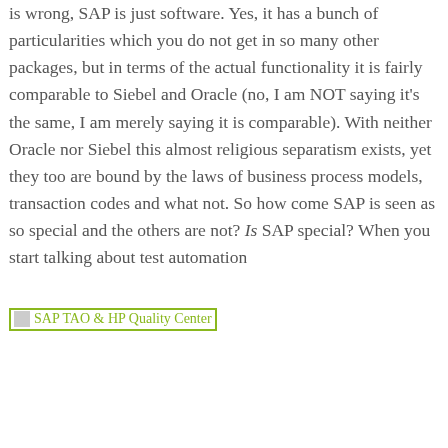is wrong, SAP is just software. Yes, it has a bunch of particularities which you do not get in so many other packages, but in terms of the actual functionality it is fairly comparable to Siebel and Oracle (no, I am NOT saying it's the same, I am merely saying it is comparable). With neither Oracle nor Siebel this almost religious separatism exists, yet they too are bound by the laws of business process models, transaction codes and what not. So how come SAP is seen as so special and the others are not? Is SAP special? When you start talking about test automation
[Figure (other): Broken image placeholder with alt text 'SAP TAO & HP Quality Center' shown in green/olive colored text with a small image icon]